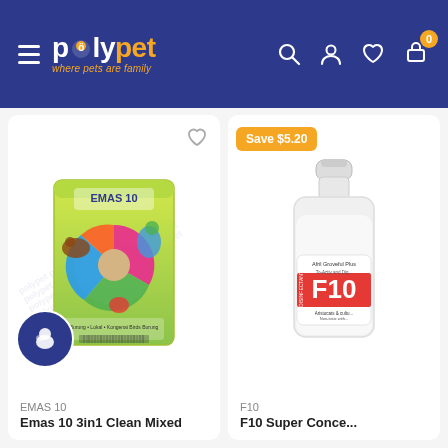polypet — where pets are family
[Figure (photo): EMAS 10 bird food product bag with colorful bird illustrations and mixed seed imagery]
EMAS 10
Emas 10 3in1 Clean Mixed
[Figure (photo): F10 Disinfectant bottle — clear plastic bottle with red label]
F10
F10 Super Conce...